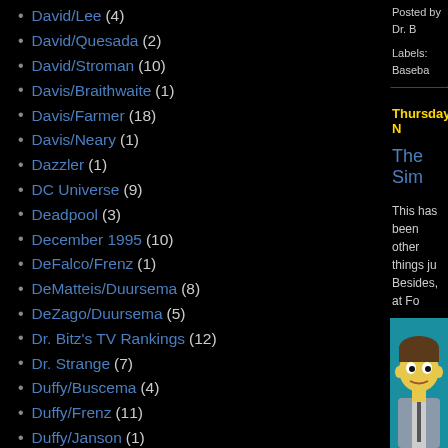David/Lee (4)
David/Quesada (2)
David/Stroman (10)
Davis/Braithwaite (1)
Davis/Farmer (18)
Davis/Neary (1)
Dazzler (1)
DC Universe (9)
Deadpool (3)
December 1995 (10)
DeFalco/Frenz (1)
DeMatteis/Duursema (8)
DeZago/Duursema (5)
Dr. Bitz's TV Rankings (12)
Dr. Strange (7)
Duffy/Buscema (4)
Duffy/Frenz (11)
Duffy/Janson (1)
Duffy/Martin (11)
Duffy/Palmer (2)
Ellis/Jones (8)
Ellis/Lashley (9)
Posted by Dr. B
Labels: Baseba
Thursday, N
The Sim
This has been other things ju Besides, at Fo
[Figure (illustration): Simpsons-style cartoon character with brown hair, yellow skin, wearing a grey suit, on a teal/blue background]